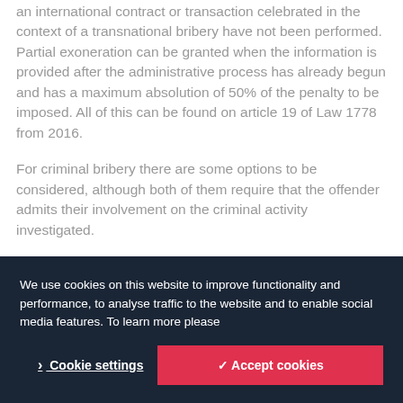an international contract or transaction celebrated in the context of a transnational bribery have not been performed. Partial exoneration can be granted when the information is provided after the administrative process has already begun and has a maximum absolution of 50% of the penalty to be imposed. All of this can be found on article 19 of Law 1778 from 2016.
For criminal bribery there are some options to be considered, although both of them require that the offender admits their involvement on the criminal activity investigated.
According to article 322 of the Colombian Criminal
We use cookies on this website to improve functionality and performance, to analyse traffic to the website and to enable social media features. To learn more please